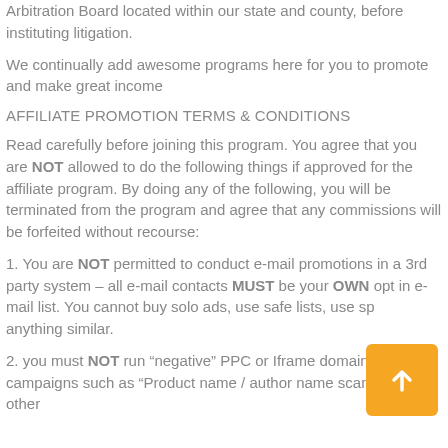Arbitration Board located within our state and county, before instituting litigation.
We continually add awesome programs here for you to promote and make great income
AFFILIATE PROMOTION TERMS & CONDITIONS
Read carefully before joining this program. You agree that you are NOT allowed to do the following things if approved for the affiliate program. By doing any of the following, you will be terminated from the program and agree that any commissions will be forfeited without recourse:
1. You are NOT permitted to conduct e-mail promotions in a 3rd party system – all e-mail contacts MUST be your OWN opt in e-mail list. You cannot buy solo ads, use safe lists, use sp[am] anything similar.
2. you must NOT run “negative” PPC or Iframe domain campaigns such as “Product name / author name scam” or any other